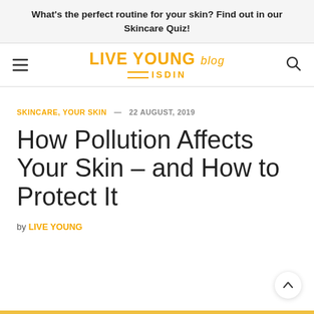What's the perfect routine for your skin? Find out in our Skincare Quiz!
[Figure (logo): Live Young Blog by ISDIN logo with hamburger menu icon on left and search icon on right]
SKINCARE, YOUR SKIN — 22 AUGUST, 2019
How Pollution Affects Your Skin – and How to Protect It
by LIVE YOUNG